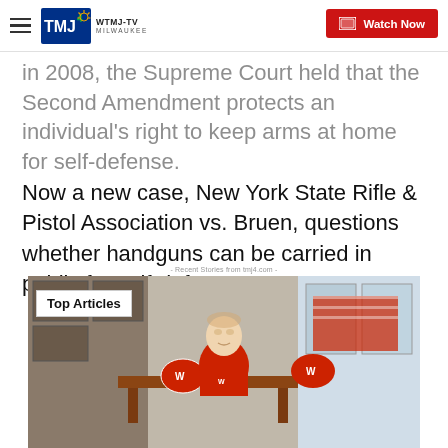WTMJ-TV MILWAUKEE | Watch Now
in 2008, the Supreme Court held that the Second Amendment protects an individual's right to keep arms at home for self-defense.
Now a new case, New York State Rifle & Pistol Association vs. Bruen, questions whether handguns can be carried in public for self-defense.
Recent Stories from tmj4.com
[Figure (screenshot): Video thumbnail showing a man in a red shirt seated in an office setting with Wisconsin Badgers helmets visible, with a 'Top Articles' overlay badge in the top left corner.]